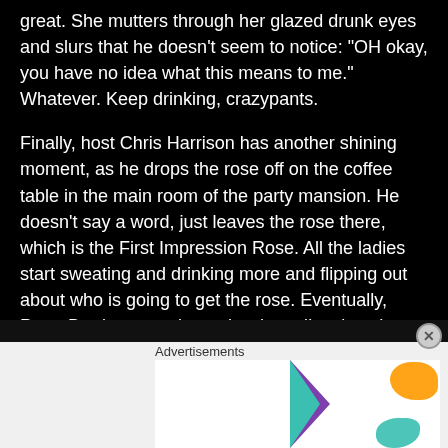great. She mutters through her glazed drunk eyes and slurs that he doesn’t seem to notice: “OH okay, you have no idea what this means to me.” Whatever. Keep drinking, crazypants.
Finally, host Chris Harrison has another shining moment, as he drops the rose off on the coffee table in the main room of the party mansion. He doesn’t say a word, just leaves the rose there, which is the First Impression Rose. All the ladies start sweating and drinking more and flipping out about who is going to get the rose. Eventually, Peter Brady comes by and awkwardly takes the rose and leaves to go find his winner. He gives it to Olivia, the news anchor, and again, Lace is not happy. “He didn’t make eye contact with me”, she slurs. What
Advertisements
[Figure (screenshot): WooCommerce advertisement banner: purple left section with WOO COMMERCE logo and teal arrow, white right section with text 'How to start selling subscriptions online', orange and teal decorative blob shapes]